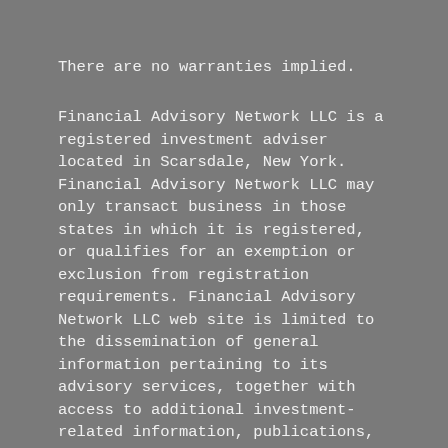There are no warranties implied.
Financial Advisory Network LLC is a registered investment adviser located in Scarsdale, New York. Financial Advisory Network LLC may only transact business in those states in which it is registered, or qualifies for an exemption or exclusion from registration requirements. Financial Advisory Network LLC web site is limited to the dissemination of general information pertaining to its advisory services, together with access to additional investment-related information, publications, and links. Accordingly, the publication Financial Advisory Network LLC web site on the Internet should not be construed by any consumer and/or prospective client as RIA Firm Name's solicitation to effect, or attempt to effect transactions in securities, or the rendering of personalized investment advice for compensation, over the Internet. Any subsequent, direct communication by Financial Advisory Network LLC with a prospective client shall be conducted by a representative that is either registered or